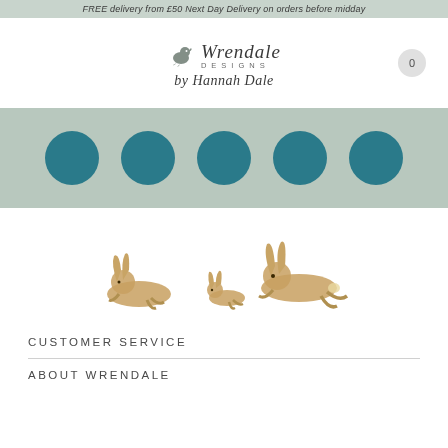FREE delivery from £50 Next Day Delivery on orders before midday
[Figure (logo): Wrendale Designs by Hannah Dale logo with a bird icon]
[Figure (infographic): Navigation bar with 5 teal circular category buttons]
[Figure (illustration): Illustration of running hares - a family of hares in golden-brown watercolor style]
CUSTOMER SERVICE
ABOUT WRENDALE